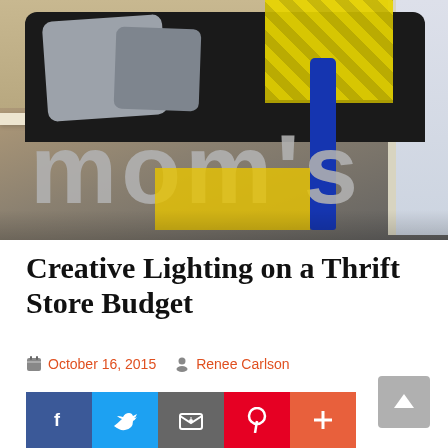[Figure (photo): Room interior photo showing a blue floor lamp with yellow chevron shade, gray decorative letters spelling 'MOMS' or similar, gray pillows on a dark sofa, and a window in the background.]
Creative Lighting on a Thrift Store Budget
October 16, 2015   Renee Carlson